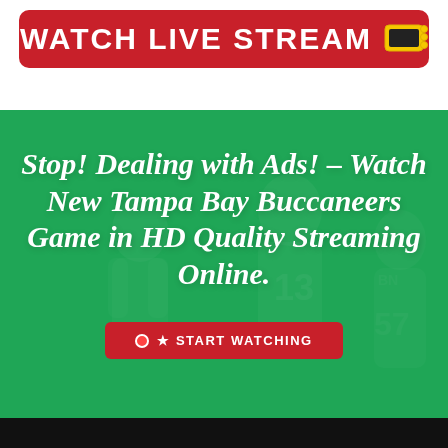[Figure (screenshot): Red rounded button with WATCH LIVE STREAM text and yellow TV icon on white background]
Stop! Dealing with Ads! - Watch New Tampa Bay Buccaneers Game in HD Quality Streaming Online.
[Figure (screenshot): Red START WATCHING button with play icon on green background with football players silhouette]